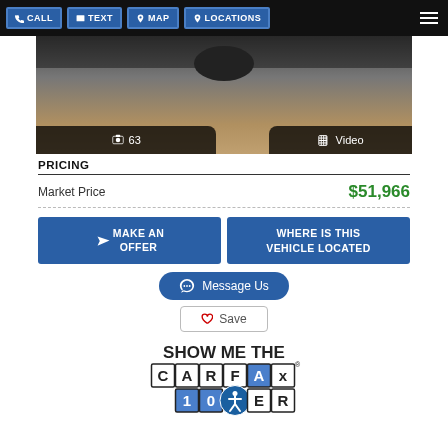CALL  TEXT  MAP  LOCATIONS
[Figure (photo): Partial view of a car (wheels visible) in an indoor showroom with concrete floor background]
PRICING
| Market Price | $51,966 |
MAKE AN OFFER
WHERE IS THIS VEHICLE LOCATED
Message Us
Save
[Figure (logo): SHOW ME THE CARFAX 1-OWNER logo with accessibility icon overlay]